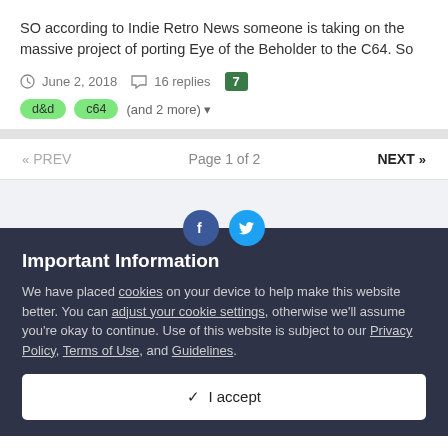SO according to Indie Retro News someone is taking on the massive project of porting Eye of the Beholder to the C64. So
June 2, 2018   16 replies   7   d&d   c64   (and 2 more)
« PREV   Page 1 of 2   NEXT »
[Figure (screenshot): Social media share icons: Facebook (dark blue circle) and Twitter (light blue circle)]
Important Information
We have placed cookies on your device to help make this website better. You can adjust your cookie settings, otherwise we'll assume you're okay to continue. Use of this website is subject to our Privacy Policy, Terms of Use, and Guidelines.
✓ I accept